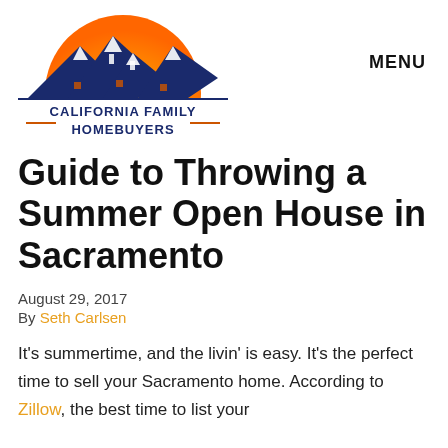[Figure (logo): California Family Homebuyers logo — semicircle sun in orange/yellow above dark blue mountain peaks with white snow caps and small house silhouettes, text 'CALIFORNIA FAMILY HOMEBUYERS' in dark blue with orange decorative lines]
MENU
Guide to Throwing a Summer Open House in Sacramento
August 29, 2017
By Seth Carlsen
It's summertime, and the livin' is easy. It's the perfect time to sell your Sacramento home. According to Zillow, the best time to list your